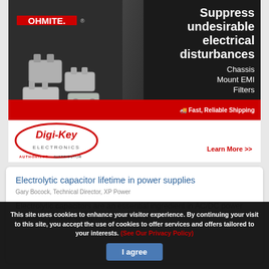[Figure (other): Ohmite EMI Filters advertisement with Digi-Key Electronics as authorized distributor. Text: 'Suppress undesirable electrical disturbances', 'Chassis Mount EMI Filters', 'Fast, Reliable Shipping', 'Learn More >>']
Electrolytic capacitor lifetime in power supplies
Gary Bocock, Technical Director, XP Power
Electrolytic capacitors are an essential ingredient in AC/DC power supplies, providing high Capacitance x
This site uses cookies to enhance your visitor experience. By continuing your visit to this site, you accept the use of cookies to offer services and offers tailored to your interests. (See Our Privacy Policy)